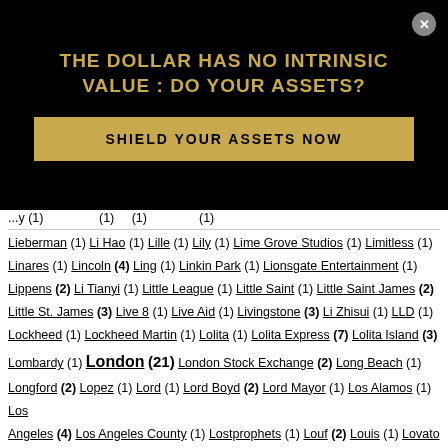[Figure (infographic): Black advertisement banner with gold text reading 'THE DOLLAR HAS NO INTRINSIC VALUE : DO YOUR ASSETS?' and a gold 'SHIELD YOUR ASSETS NOW' button, with a close X button]
Lieberman (1) Li Hao (1) Lille (1) Lily (1) Lime Grove Studios (1) Limitless (1) Linares (1) Lincoln (4) Ling (1) Linkin Park (1) Lionsgate Entertainment (1) Lippens (2) Li Tianyi (1) Little League (1) Little Saint (1) Little Saint James (2) Little St. James (3) Live 8 (1) Live Aid (1) Livingstone (3) Li Zhisui (1) LLD (1) Lockheed (1) Lockheed Martin (1) Lolita (1) Lolita Express (7) Lolita Island (3) Lombardy (1) London (21) London Stock Exchange (2) Long Beach (1) Longford (2) Lopez (1) Lord (1) Lord Boyd (2) Lord Mayor (1) Los Alamos (1) Los Angeles (4) Los Angeles County (1) Lostprophets (1) Louf (2) Louis (1) Lovato (1) Love Zone (1) Loyola (2) Lubavitch (1) Luce (1) Luchessi (1) Lucifer (47) Luciferian (1) Luoyang (1) Luster Maritime (1) Luxembourg (1) Lu Yumin (1) Lyden (1) Lynch (2) Macauley (1) MacDonald (3) Macedonian Dynasty (1) Macesanu (1) Maciel (2) Mack (2) MacKean (1) MacPherson (1) Macron (1)